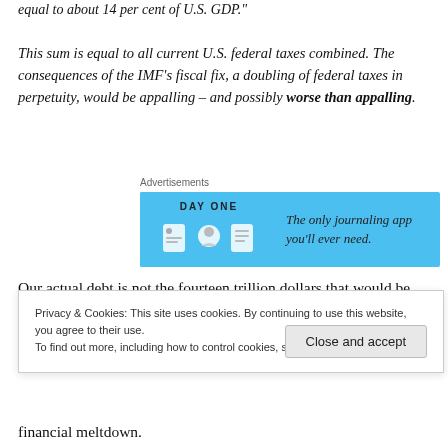equal to about 14 per cent of U.S. GDP."
This sum is equal to all current U.S. federal taxes combined. The consequences of the IMF's fiscal fix, a doubling of federal taxes in perpetuity, would be appalling – and possibly worse than appalling.
[Figure (other): DayOne app advertisement banner: 'The only journaling app you'll ever need.']
Our actual debt is not the fourteen trillion dollars that would be scary enough; it is $200 TRILLION
Privacy & Cookies: This site uses cookies. By continuing to use this website, you agree to their use.
To find out more, including how to control cookies, see here: Cookie Policy
financial meltdown.